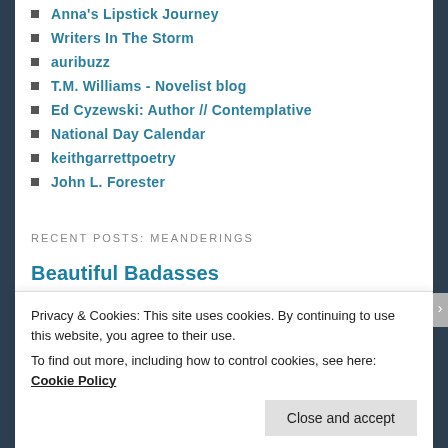Anna's Lipstick Journey
Writers In The Storm
auribuzz
T.M. Williams - Novelist blog
Ed Cyzewski: Author // Contemplative
National Day Calendar
keithgarrettpoetry
John L. Forester
RECENT POSTS: MEANDERINGS
Beautiful Badasses
[Figure (illustration): Decorative image with text reading 'Salute to the Sisterhood of the traveling kidney' in script and display fonts on a light tan background]
Privacy & Cookies: This site uses cookies. By continuing to use this website, you agree to their use.
To find out more, including how to control cookies, see here: Cookie Policy
Close and accept